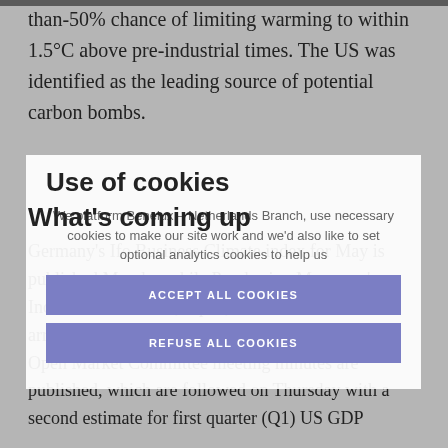than-50% chance of limiting warming to within 1.5°C above pre-industrial times. The US was identified as the leading source of potential carbon bombs.
Use of cookies
We platform Benelux – Netherlands Branch, use necessary cookies to make our site work and we'd also like to set optional analytics cookies to help us
What's coming up
ACCEPT ALL COOKIES
REFUSE ALL COOKIES
Germany's Ifo Business Climate index for May is published Monday while Purchasing Managers' Indices for Australia, Japan, the Eurozone and US arrive on Tuesday. On Wednesday the latest Federal Open Market Committee meeting minutes are published, which are followed on Thursday with a second estimate for first quarter (Q1) US GDP